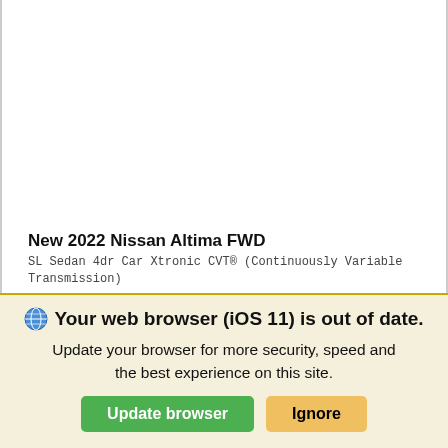New 2022 Nissan Altima FWD
SL Sedan 4dr Car Xtronic CVT® (Continuously Variable Transmission)
MSRP
$34,460
Your web browser (iOS 11) is out of date.
Update your browser for more security, speed and the best experience on this site.
Update browser
Ignore